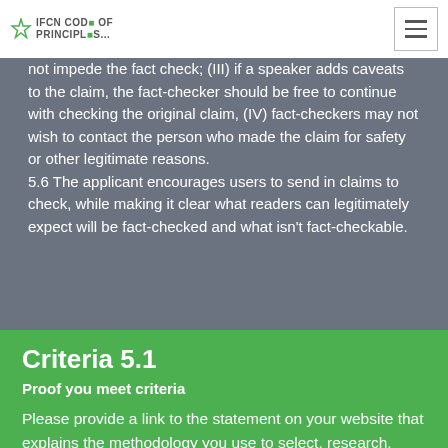IFCN CODE OF PRINCIPLES
not impede the fact check; (III) if a speaker adds caveats to the claim, the fact-checker should be free to continue with checking the original claim, (IV) fact-checkers may not wish to contact the person who made the claim for safety or other legitimate reasons.
5.6 The applicant encourages users to send in claims to check, while making it clear what readers can legitimately expect will be fact-checked and what isn't fact-checkable.
Criteria 5.1
Proof you meet criteria
Please provide a link to the statement on your website that explains the methodology you use to select, research, write and publish your fact checks.